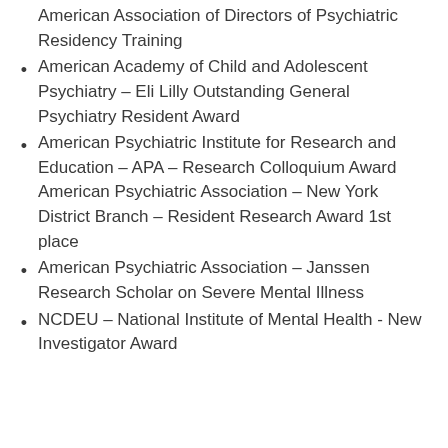American Association of Directors of Psychiatric Residency Training
American Academy of Child and Adolescent Psychiatry – Eli Lilly Outstanding General Psychiatry Resident Award
American Psychiatric Institute for Research and Education – APA – Research Colloquium Award American Psychiatric Association – New York District Branch – Resident Research Award 1st place
American Psychiatric Association – Janssen Research Scholar on Severe Mental Illness
NCDEU – National Institute of Mental Health - New Investigator Award